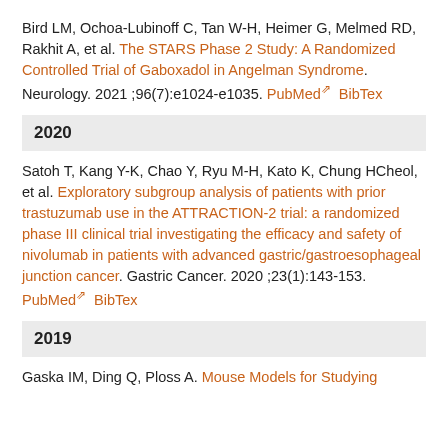Bird LM, Ochoa-Lubinoff C, Tan W-H, Heimer G, Melmed RD, Rakhit A, et al. The STARS Phase 2 Study: A Randomized Controlled Trial of Gaboxadol in Angelman Syndrome. Neurology. 2021 ;96(7):e1024-e1035. PubMed BibTex
2020
Satoh T, Kang Y-K, Chao Y, Ryu M-H, Kato K, Chung HCheol, et al. Exploratory subgroup analysis of patients with prior trastuzumab use in the ATTRACTION-2 trial: a randomized phase III clinical trial investigating the efficacy and safety of nivolumab in patients with advanced gastric/gastroesophageal junction cancer. Gastric Cancer. 2020 ;23(1):143-153. PubMed BibTex
2019
Gaska IM, Ding Q, Ploss A. Mouse Models for Studying...